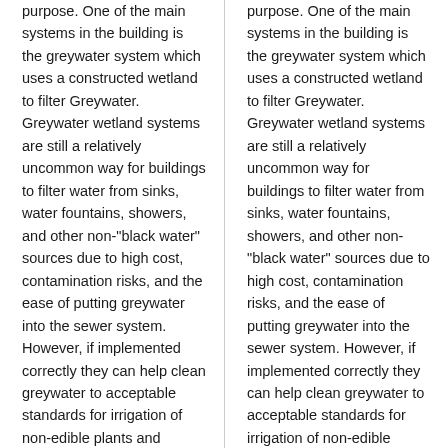purpose. One of the main systems in the building is the greywater system which uses a constructed wetland to filter Greywater. Greywater wetland systems are still a relatively uncommon way for buildings to filter water from sinks, water fountains, showers, and other non-"black water" sources due to high cost, contamination risks, and the ease of putting greywater into the sewer system. However, if implemented correctly they can help clean greywater to acceptable standards for irrigation of non-edible plants and increase groundwater
purpose. One of the main systems in the building is the greywater system which uses a constructed wetland to filter Greywater. Greywater wetland systems are still a relatively uncommon way for buildings to filter water from sinks, water fountains, showers, and other non-"black water" sources due to high cost, contamination risks, and the ease of putting greywater into the sewer system. However, if implemented correctly they can help clean greywater to acceptable standards for irrigation of non-edible plants and increase groundwater